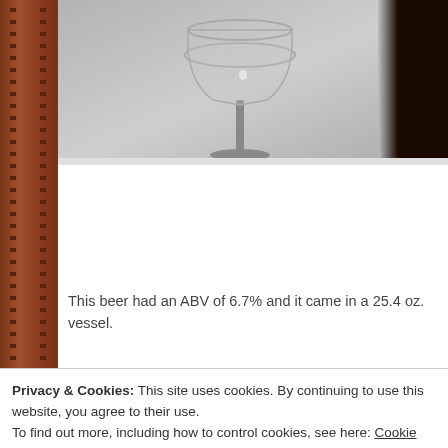[Figure (photo): Photo of a beer glass at the top of the page, showing a clear/wine glass with gray background and dark beer visible at right edge]
This beer had an ABV of 6.7% and it came in a 25.4 oz. vessel.
It discharged a hazy, deep burgundy color with some ruby highlights. The cap was an egg-shell/light tan color that was frothy, soapy, and rock... time was more than adequate. The lacing was patchy, however pro...
Privacy & Cookies: This site uses cookies. By continuing to use this website, you agree to their use.
To find out more, including how to control cookies, see here: Cookie Policy
Close and accept